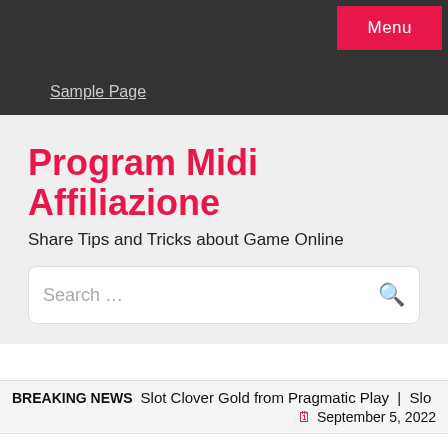Menu | Sample Page
Program Midi Affiliazione
Share Tips and Tricks about Game Online
Search …
BREAKING NEWS   Slot Clover Gold from Pragmatic Play  |  Slo   September 5, 2022